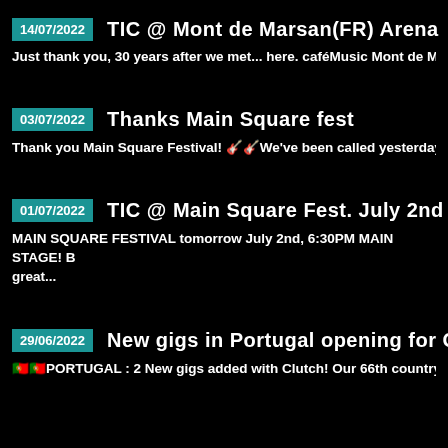14/07/2022 — TIC @ Mont de Marsan(FR) Arena
Just thank you, 30 years after we met... here. caféMusic Mont de Mars...
03/07/2022 — Thanks Main Square fest
Thank you Main Square Festival! 🎸We've been called yesterday aftern...
01/07/2022 — TIC @ Main Square Fest. July 2nd
MAIN SQUARE FESTIVAL tomorrow July 2nd, 6:30PM MAIN STAGE! B... great...
29/06/2022 — New gigs in Portugal opening for Clutch
🇵🇹PORTUGAL : 2 New gigs added with Clutch! Our 66th country visite...